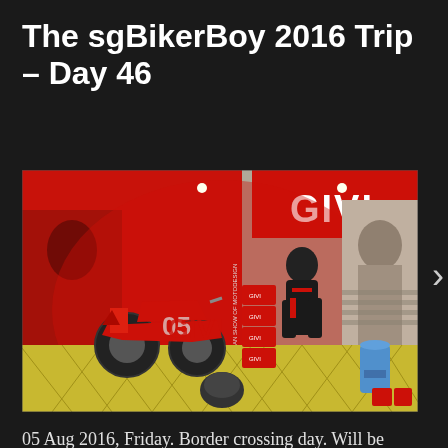The sgBikerBoy 2016 Trip – Day 46
[Figure (photo): Interior of a GIVI motorcycle accessories showroom. Features a red sport motorcycle on display, stacked boxes with GIVI branding, mannequins in motorcycle gear, red and white GIVI branded walls and banners, a black and white photo of a person on the right wall, and a blue water cooler. Text visible: 'GIVI', 'AN SHOW OF MOTODESIGN'.]
05 Aug 2016, Friday. Border crossing day. Will be heading into Malaysia this morning. I didn't